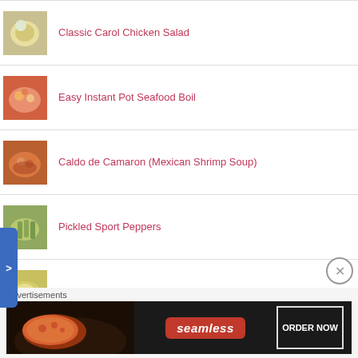Classic Carol Chicken Salad
Easy Instant Pot Seafood Boil
Caldo de Camaron (Mexican Shrimp Soup)
Pickled Sport Peppers
Mustard Potato Salad (No Egg)
Pad Kee Mao (Thai Drunken Noodles)
Southern Style Chicken Salad
Advertisements
[Figure (screenshot): Seamless food ordering advertisement banner with pizza image, Seamless logo, and ORDER NOW button]